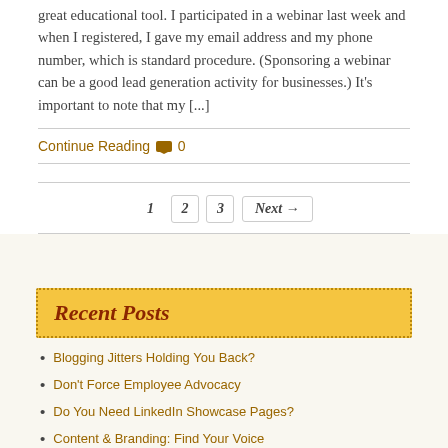great educational tool. I participated in a webinar last week and when I registered, I gave my email address and my phone number, which is standard procedure. (Sponsoring a webinar can be a good lead generation activity for businesses.) It's important to note that my [...]
Continue Reading 💬 0
1  2  3  Next →
Recent Posts
Blogging Jitters Holding You Back?
Don't Force Employee Advocacy
Do You Need LinkedIn Showcase Pages?
Content & Branding: Find Your Voice